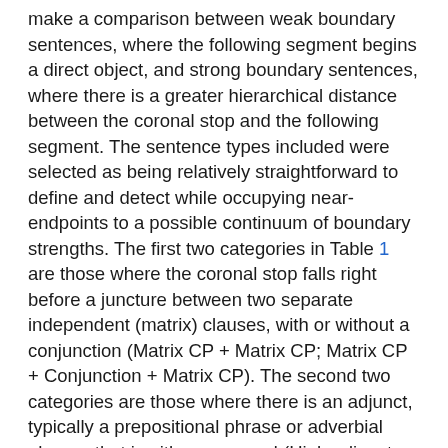make a comparison between weak boundary sentences, where the following segment begins a direct object, and strong boundary sentences, where there is a greater hierarchical distance between the coronal stop and the following segment. The sentence types included were selected as being relatively straightforward to define and detect while occupying near-endpoints to a possible continuum of boundary strengths. The first two categories in Table 1 are those where the coronal stop falls right before a juncture between two separate independent (matrix) clauses, with or without a conjunction (Matrix CP + Matrix CP; Matrix CP + Conjunction + Matrix CP). The second two categories are those where there is an adjunct, typically a prepositional phrase or adverbial phrase, that is either preposed (High adjunct + Matrix CP) or right-adjoined higher than the verb phrase containing the target word (Matrix CP + High adjunct). The latter are often similar to the sentence types in which Cooper et al. (1977) identified the syntactic blocking of trochaic shortening. Taken together, I treat the total of 269 utterances falling into these four categories as having strong syntactic boundaries. In the